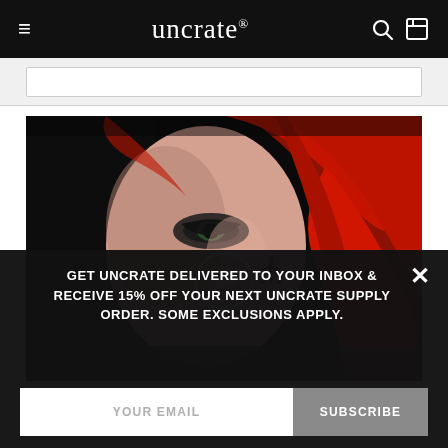uncrate®
[Figure (screenshot): Input/search bar area below the header navigation]
[Figure (photo): Video thumbnail showing a close-up of a person with red hair and dramatic makeup, with a white play button circle overlay in the center]
GET UNCRATE DELIVERED TO YOUR INBOX & RECEIVE 15% OFF YOUR NEXT UNCRATE SUPPLY ORDER. SOME EXCLUSIONS APPLY.
YOUR EMAIL
SUBSCRIBE